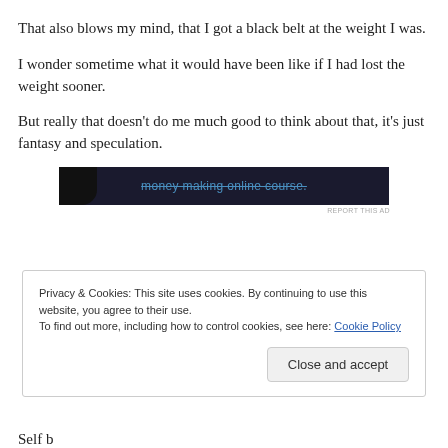That also blows my mind, that I got a black belt at the weight I was.
I wonder sometime what it would have been like if I had lost the weight sooner.
But really that doesn't do me much good to think about that, it's just fantasy and speculation.
[Figure (screenshot): Dark advertisement banner showing partially visible text 'money making online course.' with a 'REPORT THIS AD' link below.]
Privacy & Cookies: This site uses cookies. By continuing to use this website, you agree to their use.
To find out more, including how to control cookies, see here: Cookie Policy
Self b...